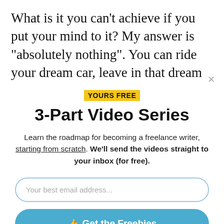What is it you can't achieve if you put your mind to it? My answer is “absolutely nothing”. You can ride your dream car, leave in that dream mansion of yourself, and travel the world
YOURS FREE
3-Part Video Series
Learn the roadmap for becoming a freelance writer, starting from scratch. We'll send the videos straight to your inbox (for free).
Your best email address...
👍 Get the Freebies